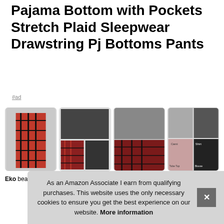Pajama Bottom with Pockets Stretch Plaid Sleepwear Drawstring Pj Bottoms Pants
#ad
[Figure (photo): Four product images of red and black plaid pajama pants worn by models, shown in a horizontal row with rounded bordered boxes.]
Eko... beautiful... nights... parties, and relaxing at home. The soft fabric will keep you
As an Amazon Associate I earn from qualifying purchases. This website uses the only necessary cookies to ensure you get the best experience on our website. More information